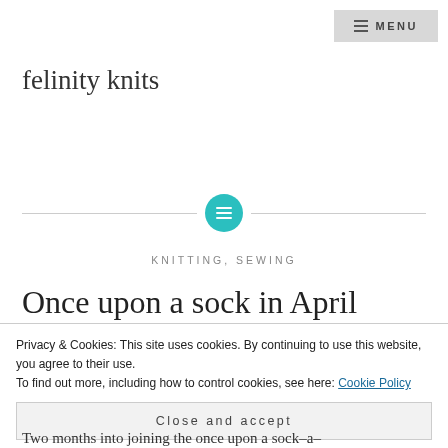≡ MENU
felinity knits
[Figure (illustration): Horizontal divider line with a teal circular icon containing a lines/list symbol in the center]
KNITTING, SEWING
Once upon a sock in April
Privacy & Cookies: This site uses cookies. By continuing to use this website, you agree to their use. To find out more, including how to control cookies, see here: Cookie Policy
Close and accept
Two months into joining the once upon a sock-a-